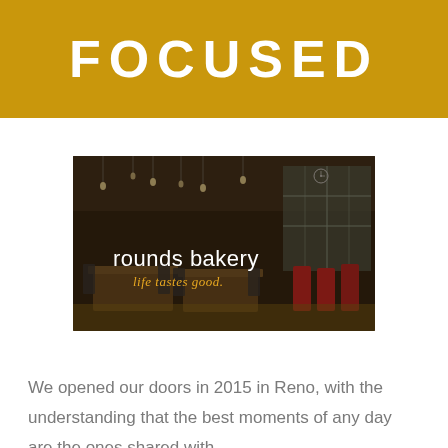FOCUSED
[Figure (photo): Interior of Rounds Bakery cafe with dark brown walls, hanging Edison bulb lights, wooden tables, red bar stools, and large windows. Overlay text reads 'rounds bakery' in white and 'life tastes good.' in gold italic.]
We opened our doors in 2015 in Reno, with the understanding that the best moments of any day are the ones shared with